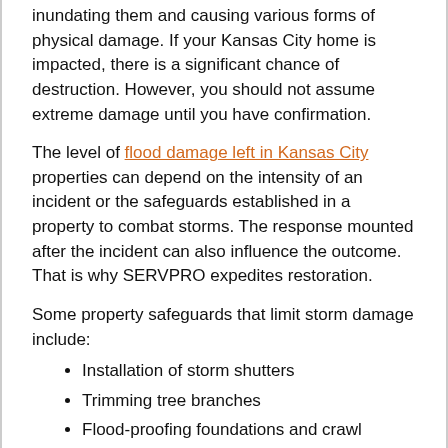inundating them and causing various forms of physical damage. If your Kansas City home is impacted, there is a significant chance of destruction. However, you should not assume extreme damage until you have confirmation.
The level of flood damage left in Kansas City properties can depend on the intensity of an incident or the safeguards established in a property to combat storms. The response mounted after the incident can also influence the outcome. That is why SERVPRO expedites restoration.
Some property safeguards that limit storm damage include:
Installation of storm shutters
Trimming tree branches
Flood-proofing foundations and crawl spaces
Having standby power
If there are no structural enhancements against storms and flooding, significant damage can occur even from a minor incident. For instance, high winds and flying debris shatter glass windows without storm shutters easily. As the wind blows inside the house, it applies upward pressure on the roof, which increases the chances of shingles being blown off, thus letting rainwater into areas that would otherwise